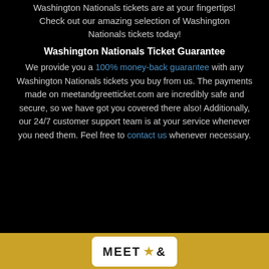Washington Nationals tickets are at your fingertips! Check out our amazing selection of Washington Nationals tickets today!
Washington Nationals Ticket Guarantee
We provide you a 100% money-back guarantee with any Washington Nationals tickets you buy from us. The payments made on meetandgreetticket.com are incredibly safe and secure, so we have got you covered there also! Additionally, our 24/7 customer support team is at your service whenever you need them. Feel free to contact us whenever necessary.
[Figure (logo): Meet and Greet ticket logo on golden footer bar]